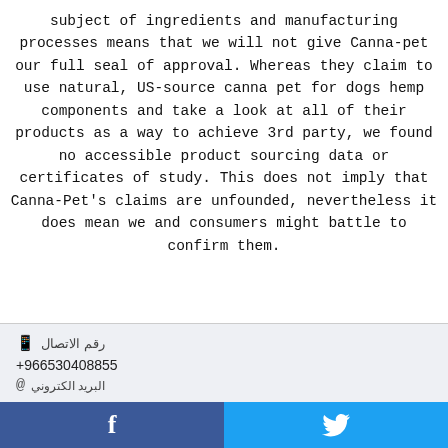subject of ingredients and manufacturing processes means that we will not give Canna-pet our full seal of approval. Whereas they claim to use natural, US-source canna pet for dogs hemp components and take a look at all of their products as a way to achieve 3rd party, we found no accessible product sourcing data or certificates of study. This does not imply that Canna-Pet's claims are unfounded, nevertheless it does mean we and consumers might battle to confirm them.
رقم الاتصال
+966530408855
البريد الكتروني
[Figure (infographic): Social share bar with Facebook (blue, f icon) and Twitter (light blue, bird icon) buttons at the bottom of the page]